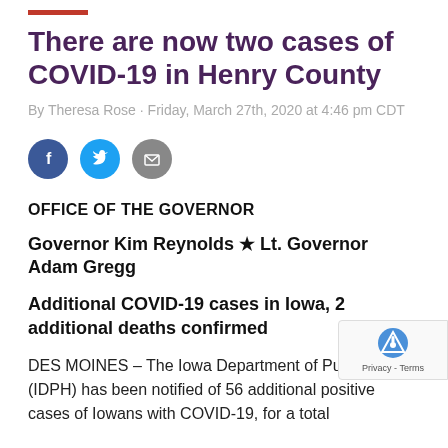There are now two cases of COVID-19 in Henry County
By Theresa Rose · Friday, March 27th, 2020 at 4:46 pm CDT
[Figure (infographic): Social sharing icons: Facebook (dark blue circle with 'f'), Twitter (light blue circle with bird icon), Email (grey circle with envelope icon)]
OFFICE OF THE GOVERNOR
Governor Kim Reynolds ★ Lt. Governor Adam Gregg
Additional COVID-19 cases in Iowa, 2 additional deaths confirmed
DES MOINES – The Iowa Department of Public Health (IDPH) has been notified of 56 additional positive cases of Iowans with COVID-19, for a total